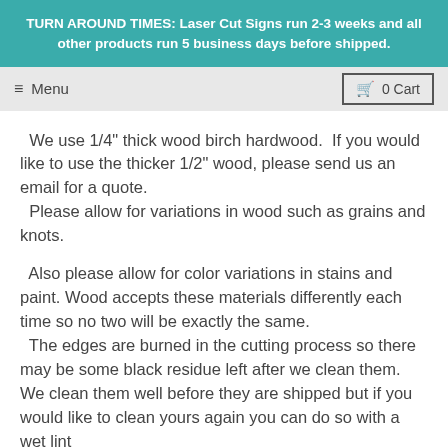TURN AROUND TIMES: Laser Cut Signs run 2-3 weeks and all other products run 5 business days before shipped.
Menu  0 Cart
We use 1/4" thick wood birch hardwood. If you would like to use the thicker 1/2" wood, please send us an email for a quote.
  Please allow for variations in wood such as grains and knots.
Also please allow for color variations in stains and paint. Wood accepts these materials differently each time so no two will be exactly the same.
  The edges are burned in the cutting process so there may be some black residue left after we clean them. We clean them well before they are shipped but if you would like to clean yours again you can do so with a wet lint